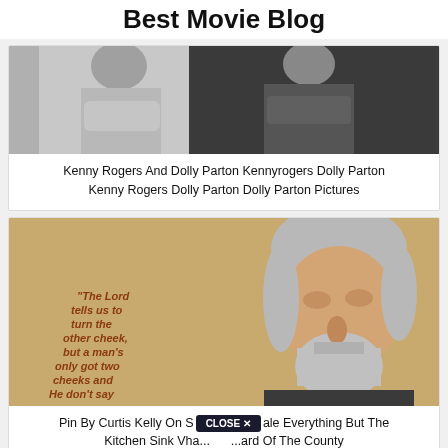Best Movie Blog
[Figure (photo): Black and white photo of two people (Kenny Rogers and Dolly Parton)]
Kenny Rogers And Dolly Parton Kennyrogers Dolly Parton Kenny Rogers Dolly Parton Dolly Parton Pictures
[Figure (photo): Photo of Kenny Rogers with gray beard and hair, with orange background text reading 'The Lord tells us to turn the other cheek, but a man's only got two cheeks and He don't say what to do']
Pin By Curtis Kelly On Staffing Sale Everything But The Kitchen Sink Vha... ...ard Of The County